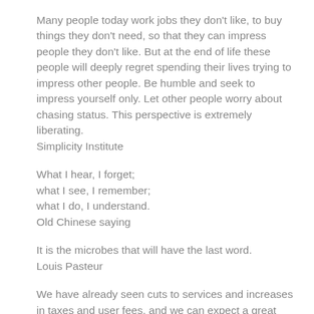Many people today work jobs they don't like, to buy things they don't need, so that they can impress people they don't like. But at the end of life these people will deeply regret spending their lives trying to impress other people. Be humble and seek to impress yourself only. Let other people worry about chasing status. This perspective is extremely liberating.
Simplicity Institute
What I hear, I forget;
what I see, I remember;
what I do, I understand.
Old Chinese saying
It is the microbes that will have the last word.
Louis Pasteur
We have already seen cuts to services and increases in taxes and user fees, and we can expect a great deal more of that dynamic as central authorities emulate hypothermic bodies. In other words, they will cut off the circulation to the fingers and toes in order to preserve the core. This is of course a recipe to protect from the min...